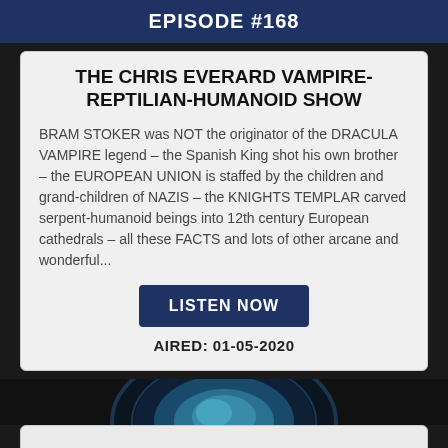EPISODE #168
THE CHRIS EVERARD VAMPIRE-REPTILIAN-HUMANOID SHOW
BRAM STOKER was NOT the originator of the DRACULA VAMPIRE legend – the Spanish King shot his own brother – the EUROPEAN UNION is staffed by the children and grand-children of NAZIS – the KNIGHTS TEMPLAR carved serpent-humanoid beings into 12th century European cathedrals – all these FACTS and lots of other arcane and wonderful...
LISTEN NOW
AIRED: 01-05-2020
[Figure (photo): Dark circular/globe-like object with blue teal glow against black background, partially visible in a horizontal strip]
[Figure (other): Light grey empty card/panel at bottom of page]